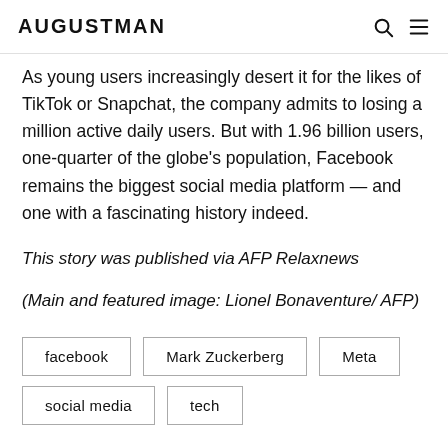AUGUSTMAN
As young users increasingly desert it for the likes of TikTok or Snapchat, the company admits to losing a million active daily users. But with 1.96 billion users, one-quarter of the globe's population, Facebook remains the biggest social media platform — and one with a fascinating history indeed.
This story was published via AFP Relaxnews
(Main and featured image: Lionel Bonaventure/ AFP)
facebook
Mark Zuckerberg
Meta
social media
tech